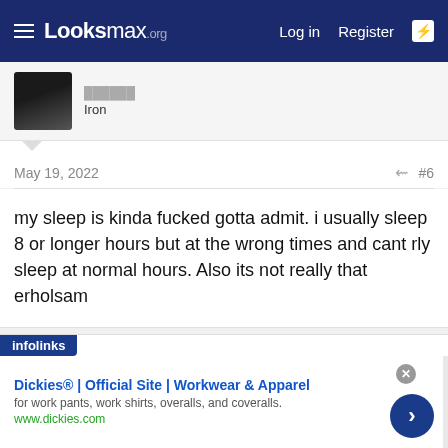Looksmax.org  Log in  Register
[Figure (photo): User avatar - dark photo of a person]
Iron
May 19, 2022  #6
my sleep is kinda fucked gotta admit. i usually sleep 8 or longer hours but at the wrong times and cant rly sleep at normal hours. Also its not really that erholsam
[Figure (photo): User avatar - photo of a person with brown hair]
Deleted member 19301
Nw3
infolinks
Dickies® | Official Site | Workwear & Apparel
for work pants, work shirts, overalls, and coveralls.
www.dickies.com